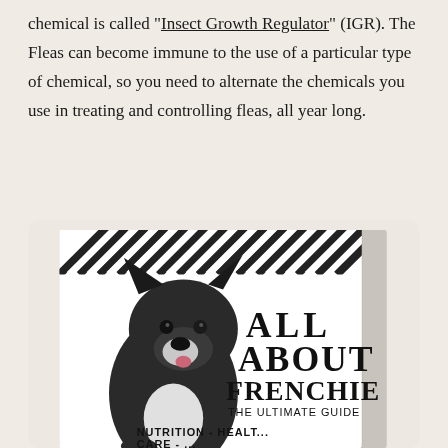chemical is called "Insect Growth Regulator" (IGR). The Fleas can become immune to the use of a particular type of chemical, so you need to alternate the chemicals you use in treating and controlling fleas, all year long.
[Figure (illustration): Book cover titled 'All About Frenchie - The Ultimate Guide' featuring a black and white French Bulldog. The cover also shows text 'Nutrition - Health' and 'Care - ...' at the bottom. A diagonal stripe pattern decorates the top of the book.]